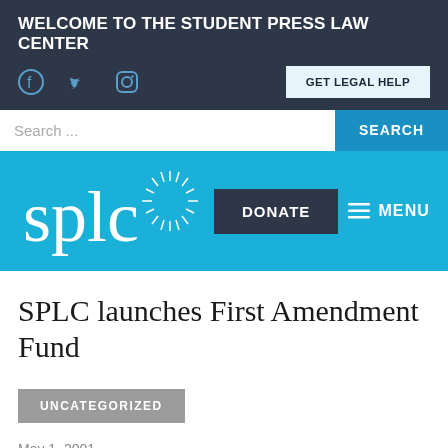WELCOME TO THE STUDENT PRESS LAW CENTER
GET LEGAL HELP
Search ...
[Figure (logo): SPLC logo in white on cyan background with decorative sunburst]
DONATE
MENU
SPLC launches First Amendment Fund
UNCATEGORIZED
May 1, 2001